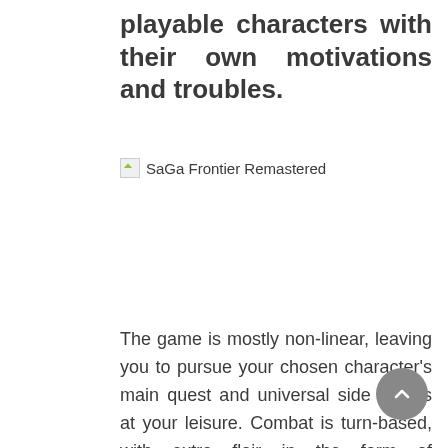playable characters with their own motivations and troubles.
[Figure (other): Broken image placeholder labeled 'SaGa Frontier Remastered']
The game is mostly non-linear, leaving you to pursue your chosen character’s main quest and universal side quests at your leisure. Combat is turn-based, with extra flair in the form of combination attacks the heroes can unleash by meeting specific requirements. There’s even a